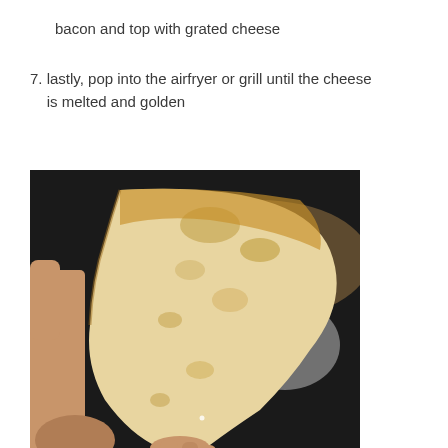bacon and top with grated cheese
7. lastly, pop into the airfryer or grill until the cheese is melted and golden
[Figure (photo): A hand holding a baked cone-shaped pastry that is golden brown, photographed against a dark background. The pastry appears to be a filled dough cone.]